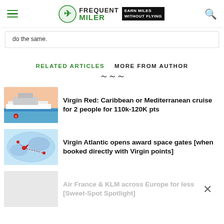Frequent Miler — EARN MILES WITHOUT FLYING
do the same.
RELATED ARTICLES   MORE FROM AUTHOR
Virgin Red: Caribbean or Mediterranean cruise for 2 people for 110k-120K pts
Virgin Atlantic opens award space gates [when booked directly with Virgin points]
Air France & KLM across Europe for less [Sweet-Spot Spotlight]